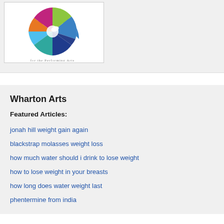[Figure (logo): Wharton Arts performing arts logo — colorful circular design with text 'for the Performing Arts' around it]
Wharton Arts
Featured Articles:
jonah hill weight gain again
blackstrap molasses weight loss
how much water should i drink to lose weight
how to lose weight in your breasts
how long does water weight last
phentermine from india